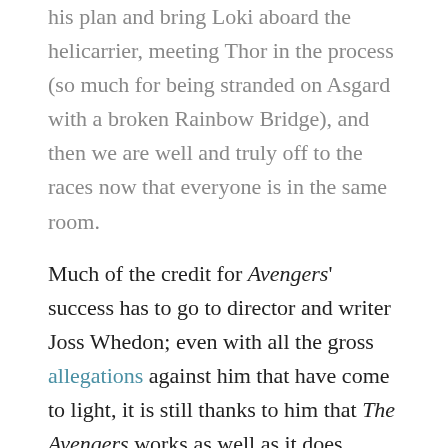his plan and bring Loki aboard the helicarrier, meeting Thor in the process (so much for being stranded on Asgard with a broken Rainbow Bridge), and then we are well and truly off to the races now that everyone is in the same room.
Much of the credit for Avengers' success has to go to director and writer Joss Whedon; even with all the gross allegations against him that have come to light, it is still thanks to him that The Avengers works as well as it does. While these accusations should be treated with the utmost seriousness (and are made even worse by the fact that Whedon built his initial career by positioning himself as a feminist icon with works like Buffy the Vampire